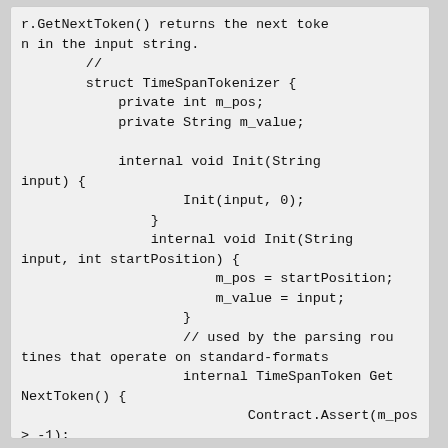r.GetNextToken() returns the next token in the input string.
        //
        struct TimeSpanTokenizer {
            private int m_pos;
            private String m_value;

            internal void Init(String input) {
                    Init(input, 0);
                }
                internal void Init(String input, int startPosition) {
                        m_pos = startPosition;
                        m_value = input;
                    }
                    // used by the parsing routines that operate on standard-formats
                    internal TimeSpanToken GetNextToken() {
                            Contract.Assert(m_pos > -1);


                            TimeSpanToken tok = ne
w TimeSpanToken();